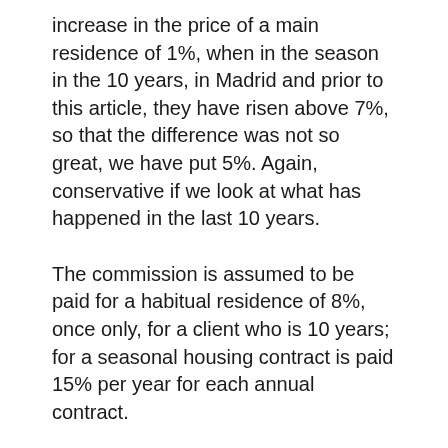increase in the price of a main residence of 1%, when in the season in the 10 years, in Madrid and prior to this article, they have risen above 7%, so that the difference was not so great, we have put 5%. Again, conservative if we look at what has happened in the last 10 years.
The commission is assumed to be paid for a habitual residence of 8%, once only, for a client who is 10 years; for a seasonal housing contract is paid 15% per year for each annual contract.
In this case we remember that when the owner is available and makes some arrangements our commissions can be up to 10%. That is to say we penalize again the hypothesis of temporary rent because many owners pay our minimum of 10%.